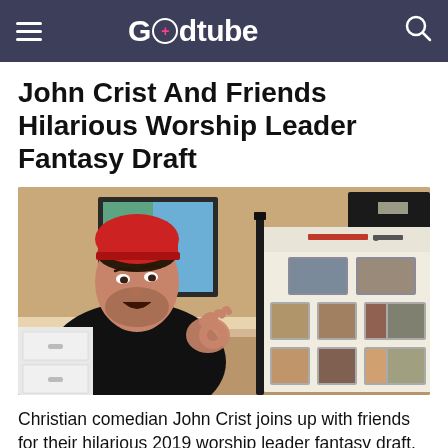Godtube
John Crist And Friends Hilarious Worship Leader Fantasy Draft
[Figure (photo): John Crist, a man wearing a red beanie and black shirt, gesturing with his hands toward a board showing photos of worship leaders arranged in a grid.]
Christian comedian John Crist joins up with friends for their hilarious 2019 worship leader fantasy draft.